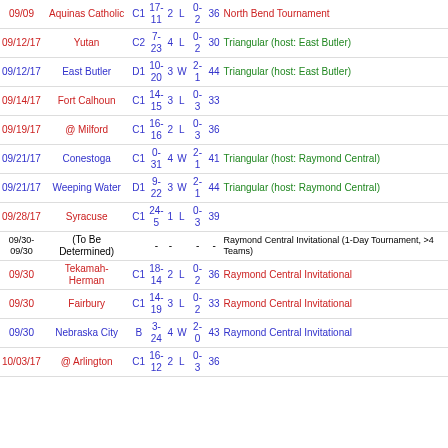| Date | Opponent | Class | Score | Sets | W/L | Record | Pts | Tournament/Notes |
| --- | --- | --- | --- | --- | --- | --- | --- | --- |
| 09/09 | Aquinas Catholic | C1 | 17-11 | 2 | L | 0-2 | 36 | North Bend Tournament |
| 09/12/17 | Yutan | C2 | 7-23 | 4 | L | 0-2 | 30 | Triangular (host: East Butler) |
| 09/12/17 | East Butler | D1 | 10-20 | 3 | W | 2-1 | 44 | Triangular (host: East Butler) |
| 09/14/17 | Fort Calhoun | C1 | 14-15 | 3 | L | 0-3 | 33 |  |
| 09/19/17 | @ Milford | C1 | 16-16 | 2 | L | 0-3 | 36 |  |
| 09/21/17 | Conestoga | C1 | 0-31 | 4 | W | 2-1 | 41 | Triangular (host: Raymond Central) |
| 09/21/17 | Weeping Water | D1 | 9-22 | 3 | W | 2-1 | 44 | Triangular (host: Raymond Central) |
| 09/28/17 | Syracuse | C1 | 24-5 | 1 | L | 0-3 | 39 |  |
| 09/30-09/30 | (To Be Determined) |  | - | - |  | - | - | Raymond Central Invitational (1-Day Tournament, >4 Teams) |
| 09/30 | Tekamah-Herman | C1 | 18-14 | 2 | L | 0-2 | 36 | Raymond Central Invitational |
| 09/30 | Fairbury | C1 | 14-19 | 3 | L | 0-2 | 33 | Raymond Central Invitational |
| 09/30 | Nebraska City | B | 3-24 | 4 | W | 2-0 | 43 | Raymond Central Invitational |
| 10/03/17 | @ Arlington | C1 | 16-12 | 2 | L | 0-3 | 36 |  |